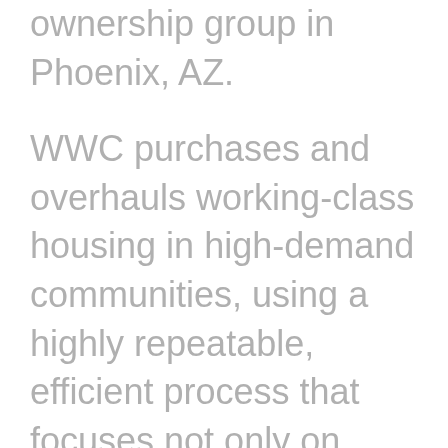ownership group in Phoenix, AZ. WWC purchases and overhauls working-class housing in high-demand communities, using a highly repeatable, efficient process that focuses not only on capital enhancements but also on quality of life upgrades for residents and staff. This unique system enables WWC to deliver average annual returns of 32% for its 750+